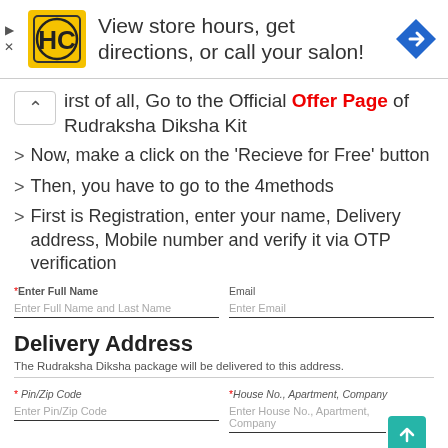[Figure (logo): HC Salon logo and advertisement banner: 'View store hours, get directions, or call your salon!' with a navigation arrow icon]
First of all, Go to the Official Offer Page of Rudraksha Diksha Kit
Now, make a click on the 'Recieve for Free' button
Then, you have to go to the 4methods
First is Registration, enter your name, Delivery address, Mobile number and verify it via OTP verification
| *Enter Full Name | Email |
| --- | --- |
| Enter Full Name and Last Name | Enter Email |
Delivery Address
The Rudraksha Diksha package will be delivered to this address.
| * Pin/Zip Code | * House No., Apartment, Company |
| --- | --- |
| Enter Pin/Zip Code | Enter House No., Apartment, Company |
| * Area, Colony, Street, Sector, Village | Landmark |
| --- | --- |
|  |  |